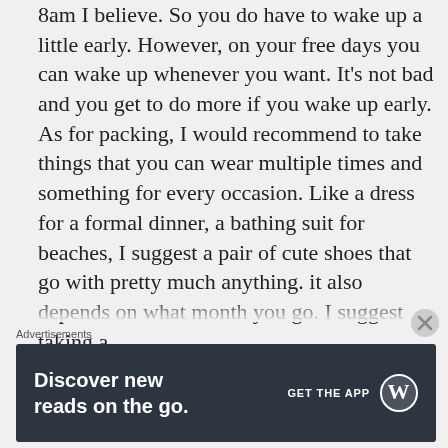8am I believe. So you do have to wake up a little early. However, on your free days you can wake up whenever you want. It's not bad and you get to do more if you wake up early. As for packing, I would recommend to take things that you can wear multiple times and something for every occasion. Like a dress for a formal dinner, a bathing suit for beaches, I suggest a pair of cute shoes that go with pretty much anything. it also depends on what month you go. I suggest taking a
Advertisements
[Figure (other): Advertisement banner: Discover new reads on the go. GET THE APP with WordPress logo. Dark gray/charcoal background.]